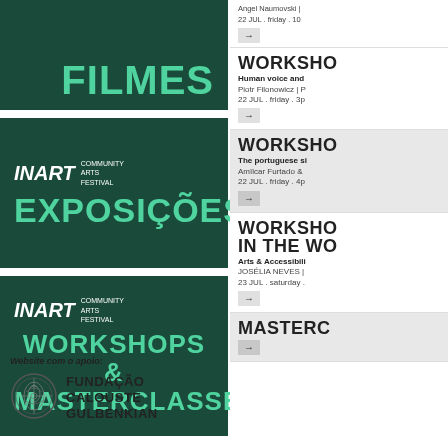[Figure (logo): INART Community Arts Festival - FILMES banner (dark green background, teal text)]
[Figure (logo): INART Community Arts Festival - EXPOSIÇÕES banner (dark green background, teal text)]
[Figure (logo): INART Community Arts Festival - WORKSHOPS & MASTERCLASSES banner (dark green background, teal text)]
Website com o apoio:
[Figure (logo): Fundação Calouste Gulbenkian logo with circular emblem]
FUNDAÇÃO CALOUSTE GULBENKIAN
Angel Naumovski | 22 JUL . friday . 10
WORKSHO - Human voice and ... - Piotr Filonowicz | P - 22 JUL . friday . 3p
WORKSHO - The portuguese si... - Amîlcar Furtado & ... - 22 JUL . friday . 4p
WORKSHO IN THE WO - Arts & Accessibili... - JOSÉLIA NEVES | ... - 23 JUL . saturday .
MASTERC